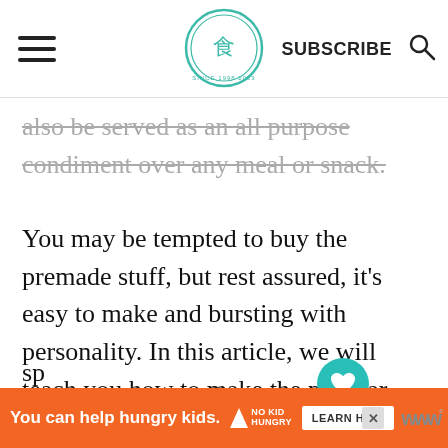SUBSCRIBE
also be served as an all purpose condiment over any meal or snack.
You may be tempted to buy the premade stuff, but rest assured, it's easy to make and bursting with personality. In this article, we will teach you how to make the popular Asian dressing home. In addition, we've also included steps how to make a few different varieties traditional, creamy sesame, egg, ponzu, and
sp
[Figure (screenshot): WHAT'S NEXT panel with Warabi Mochi Recipe thumbnail]
You can help hungry kids. NO KID HUNGRY LEARN HOW